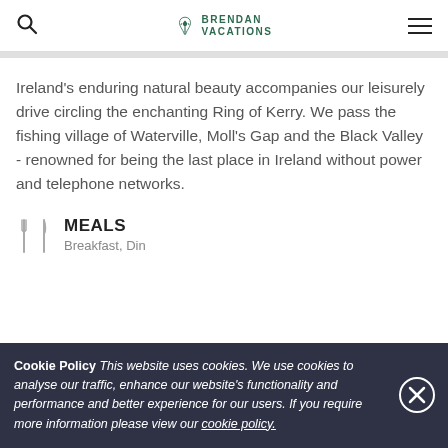Brendan Vacations
Ireland's enduring natural beauty accompanies our leisurely drive circling the enchanting Ring of Kerry. We pass the fishing village of Waterville, Moll's Gap and the Black Valley - renowned for being the last place in Ireland without power and telephone networks.
MEALS
Breakfast, Dinner
Cookie Policy This website uses cookies. We use cookies to analyse our traffic, enhance our website's functionality and performance and better experience for our users. If you require more information please view our cookie policy.